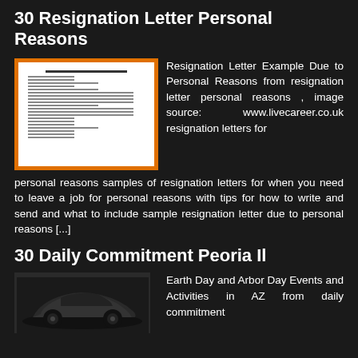30 Resignation Letter Personal Reasons
[Figure (photo): Preview thumbnail of a resignation letter document with orange border frame]
Resignation Letter Example Due to Personal Reasons from resignation letter personal reasons , image source: www.livecareer.co.uk resignation letters for personal reasons samples of resignation letters for when you need to leave a job for personal reasons with tips for how to write and send and what to include sample resignation letter due to personal reasons [...]
30 Daily Commitment Peoria Il
[Figure (photo): Photo of a dark car (appears to be a black sedan) on a dark background, partially visible]
Earth Day and Arbor Day Events and Activities in AZ from daily commitment